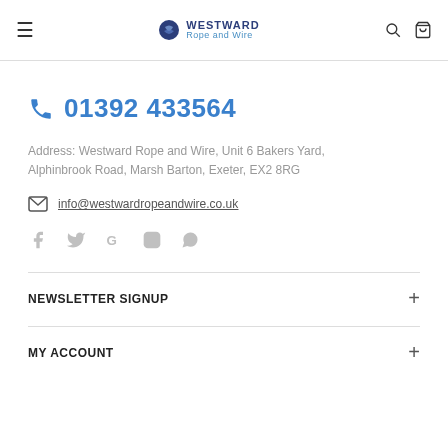Westward Rope and Wire
☎ 01392 433564
Address: Westward Rope and Wire, Unit 6 Bakers Yard, Alphinbrook Road, Marsh Barton, Exeter, EX2 8RG
info@westwardropeandwire.co.uk
[Figure (infographic): Social media icons: Facebook, Twitter, Google, Instagram, WhatsApp]
NEWSLETTER SIGNUP
MY ACCOUNT